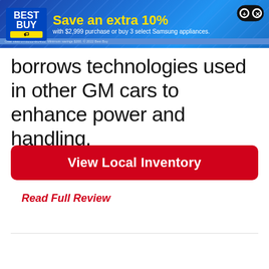[Figure (infographic): Best Buy advertisement banner: blue gradient background with diagonal stripe pattern. Best Buy logo on left, yellow headline 'Save an extra 10%' with white subtext 'with $2,999 purchase or buy 3 select Samsung appliances.' Game controller icon top right.]
borrows technologies used in other GM cars to enhance power and handling.
View Local Inventory
Read Full Review